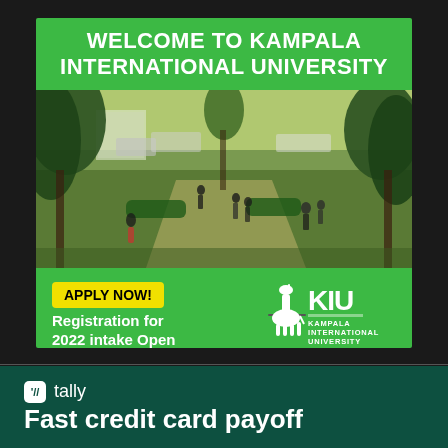[Figure (infographic): Kampala International University advertisement banner. Green header with 'WELCOME TO KAMPALA INTERNATIONAL UNIVERSITY' text. Below is a photo of the campus showing students walking on pathways surrounded by trees and green hedges, with parked vehicles in background. Bottom green bar shows yellow 'APPLY NOW!' button, 'Registration for 2022 intake Open' text, KIU giraffe logo, 'KAMPALA INTERNATIONAL UNIVERSITY' name, and 'www.kiu.ac.ug' website.]
[Figure (infographic): Tally app advertisement on dark green background. Shows tally icon (white rounded square with quotation mark symbol) followed by 'tally' text in white. Large text below reads 'Fast credit card payoff'.]